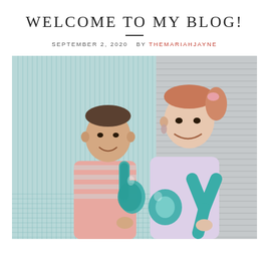WELCOME TO MY BLOG!
SEPTEMBER 2, 2020  BY THEMARIAHJAYNE
[Figure (photo): A couple smiling and holding teal letter balloon that spell 'boy', standing in front of a water feature wall on the left and gray horizontal siding on the right.]